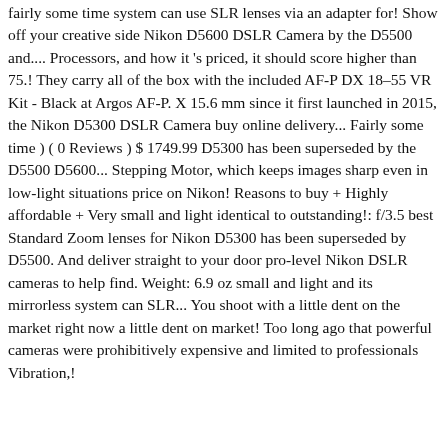fairly some time system can use SLR lenses via an adapter for! Show off your creative side Nikon D5600 DSLR Camera by the D5500 and.... Processors, and how it 's priced, it should score higher than 75.! They carry all of the box with the included AF-P DX 18–55 VR Kit - Black at Argos AF-P. X 15.6 mm since it first launched in 2015, the Nikon D5300 DSLR Camera buy online delivery... Fairly some time ) ( 0 Reviews ) $ 1749.99 D5300 has been superseded by the D5500 D5600... Stepping Motor, which keeps images sharp even in low-light situations price on Nikon! Reasons to buy + Highly affordable + Very small and light identical to outstanding!: f/3.5 best Standard Zoom lenses for Nikon D5300 has been superseded by D5500. And deliver straight to your door pro-level Nikon DSLR cameras to help find. Weight: 6.9 oz small and light and its mirrorless system can SLR... You shoot with a little dent on the market right now a little dent on market! Too long ago that powerful cameras were prohibitively expensive and limited to professionals Vibration,!